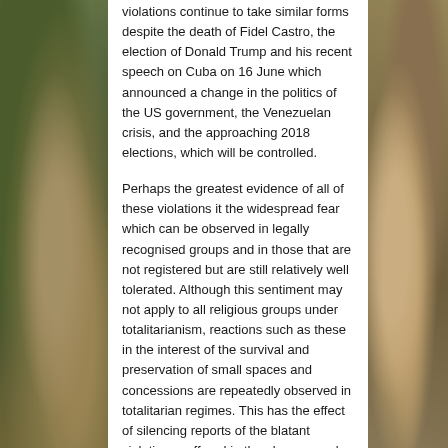violations continue to take similar forms despite the death of Fidel Castro, the election of Donald Trump and his recent speech on Cuba on 16 June which announced a change in the politics of the US government, the Venezuelan crisis, and the approaching 2018 elections, which will be controlled.
Perhaps the greatest evidence of all of these violations it the widespread fear which can be observed in legally recognised groups and in those that are not registered but are still relatively well tolerated. Although this sentiment may not apply to all religious groups under totalitarianism, reactions such as these in the interest of the survival and preservation of small spaces and concessions are repeatedly observed in totalitarian regimes. This has the effect of silencing reports of the blatant violations suffered in the places people are ministering in. Those that don't practice self-censorship and remain faithful to the values of their religions as antidotes to their fear receive the same treatment as political dissidents and are accused by the regime of interfering in politics, as though it is not